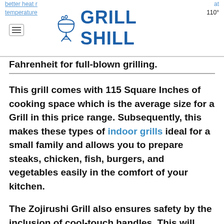GRILL SHILL
Fahrenheit for full-blown grilling.
This grill comes with 115 Square Inches of cooking space which is the average size for a Grill in this price range. Subsequently, this makes these types of indoor grills ideal for a small family and allows you to prepare steaks, chicken, fish, burgers, and vegetables easily in the comfort of your kitchen.
The Zojirushi Grill also ensures safety by the inclusion of cool-touch handles. This will make sure you don't burn your fingers while grilling. The added measure of a “safety interlock” in the base of the unit also prevents the user from accidentally plugging the temperature controller without the drip pan installed. This can help prevent damage to the product or a potential fire.